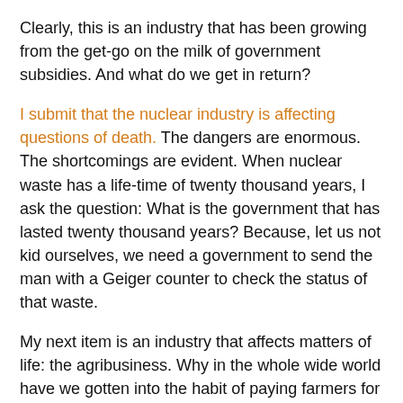Clearly, this is an industry that has been growing from the get-go on the milk of government subsidies. And what do we get in return?
I submit that the nuclear industry is affecting questions of death. The dangers are enormous. The shortcomings are evident. When nuclear waste has a life-time of twenty thousand years, I ask the question: What is the government that has lasted twenty thousand years? Because, let us not kid ourselves, we need a government to send the man with a Geiger counter to check the status of that waste.
My next item is an industry that affects matters of life: the agribusiness. Why in the whole wide world have we gotten into the habit of paying farmers for not growing food? No, this is not a matter of survival. Once the government granaries are full, let the market decide whether the farmer has made a mistake in overproducing.
My third item is the oil and gas industry. Rather than letting them pay for using wealth that is common property of the entire nation, we give them subsidies in the form of oil